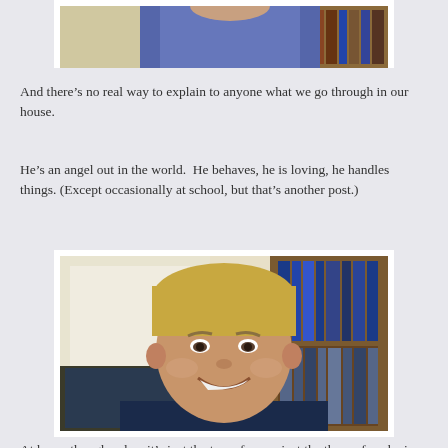[Figure (photo): Bottom portion of a person wearing a blue shirt, cropped at the top of the page]
And there's no real way to explain to anyone what we go through in our house.
He's an angel out in the world.  He behaves, he is loving, he handles things. (Except occasionally at school, but that's another post.)
[Figure (photo): Smiling blonde boy in a dark navy shirt, with a bookshelf visible in the background on the right and a window on the left]
At home though, when it's just the two of us, or just the three of us, he is a different kid.